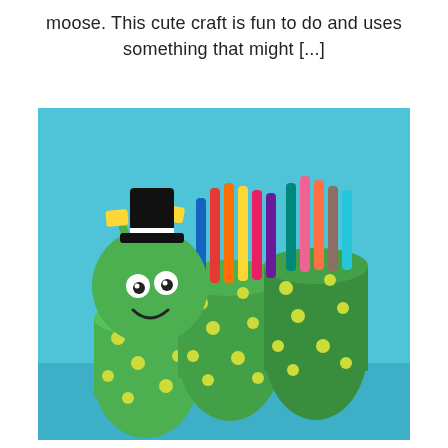moose. This cute craft is fun to do and uses something that might [...]
[Figure (photo): A caterpillar pencil holder craft made from toilet paper rolls covered in green paper with yellow polka dots. The caterpillar has a round green head with googly eyes, a smile, yellow antennae, and a black top hat. Three cylindrical body segments hold colorful markers.]